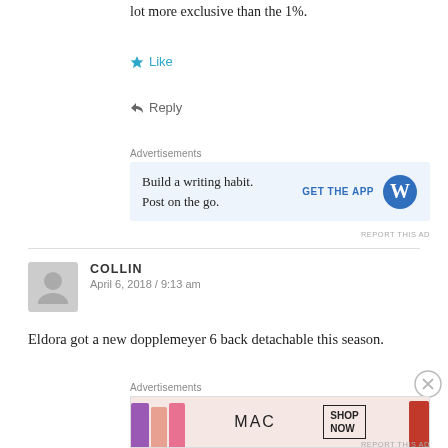lot more exclusive than the 1%.
★ Like
↩ Reply
Advertisements
[Figure (screenshot): WordPress app advertisement: 'Build a writing habit. Post on the go.' with GET THE APP button and WordPress logo]
COLLIN
April 6, 2018 / 9:13 am
Eldora got a new dopplemeyer 6 back detachable this season.
Advertisements
[Figure (screenshot): MAC cosmetics advertisement showing lipsticks with SHOP NOW button]